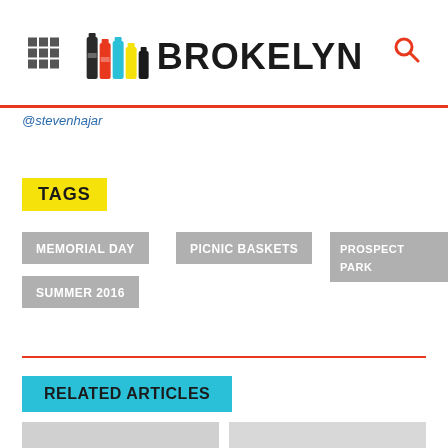BROKELYN
@stevenhajar
TAGS
MEMORIAL DAY
PICNIC BASKETS
PROSPECT PARK
SUMMER 2016
RELATED ARTICLES
[Figure (photo): Thumbnail images below Related Articles section]